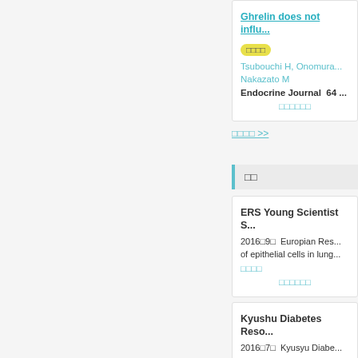Ghrelin does not influ...
□□□□
Tsubouchi H, Onomura ... Nakazato M
Endocrine Journal  64 ...
□□□□□□
□□□□ >>
□□
ERS Young Scientist S...
2016□9□  Europian Res... of epithelial cells in lung...
□□□□
□□□□□□
Kyushu Diabetes Reso...
2016□7□  Kyusyu Diabe...